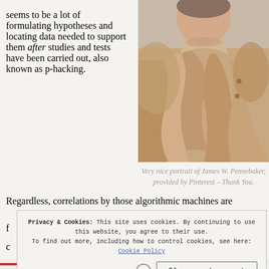seems to be a lot of formulating hypotheses and locating data needed to support them after studies and tests have been carried out, also known as p-hacking.
[Figure (photo): Portrait photo of James W. Pennebaker, a person in a beige/tan shirt, cropped close showing upper body and face turned slightly]
Very nice portrait of James W. Pennebaker, provided by Pinterest – Thank You.
Regardless, correlations by those algorithmic machines are f... c... t...
Privacy & Cookies: This site uses cookies. By continuing to use this website, you agree to their use. To find out more, including how to control cookies, see here: Cookie Policy
Close and accept